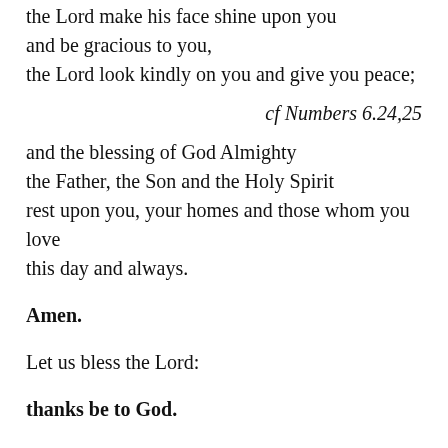the Lord make his face shine upon you
and be gracious to you,
the Lord look kindly on you and give you peace;
cf Numbers 6.24,25
and the blessing of God Almighty
the Father, the Son and the Holy Spirit
rest upon you, your homes and those whom you love
this day and always.
Amen.
Let us bless the Lord:
thanks be to God.
Blessing, honour and glory be yours,